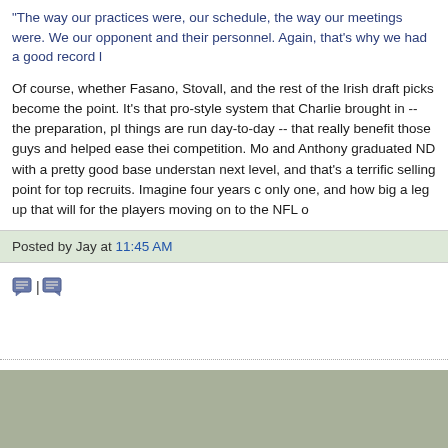"The way our practices were, our schedule, the way our meetings were. We studied our opponent and their personnel. Again, that's why we had a good record l...
Of course, whether Fasano, Stovall, and the rest of the Irish draft picks become the point. It's that pro-style system that Charlie brought in -- the preparation, pl... things are run day-to-day -- that really benefit those guys and helped ease thei... competition. Mo and Anthony graduated ND with a pretty good base understan... next level, and that's a terrific selling point for top recruits. Imagine four years c... only one, and how big a leg up that will for the players moving on to the NFL o...
Posted by Jay at 11:45 AM
Newer Post | Home
Subscribe to: Comment Feed (RSS)